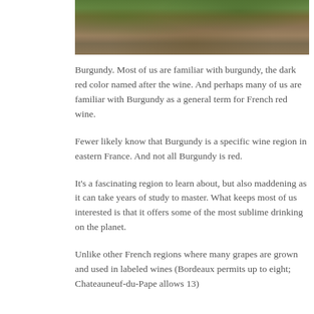[Figure (photo): Photograph showing vineyard soil with green vegetation/weeds growing between rows of vines, earthy brown soil visible.]
Burgundy. Most of us are familiar with burgundy, the dark red color named after the wine. And perhaps many of us are familiar with Burgundy as a general term for French red wine.
Fewer likely know that Burgundy is a specific wine region in eastern France. And not all Burgundy is red.
It's a fascinating region to learn about, but also maddening as it can take years of study to master. What keeps most of us interested is that it offers some of the most sublime drinking on the planet.
Unlike other French regions where many grapes are grown and used in labeled wines (Bordeaux permits up to eight; Chateauneuf-du-Pape allows 13)